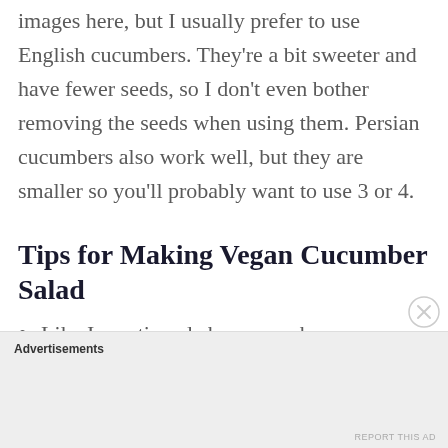images here, but I usually prefer to use English cucumbers. They're a bit sweeter and have fewer seeds, so I don't even bother removing the seeds when using them. Persian cucumbers also work well, but they are smaller so you'll probably want to use 3 or 4.
Tips for Making Vegan Cucumber Salad
Like I mentioned above – make sure
Advertisements